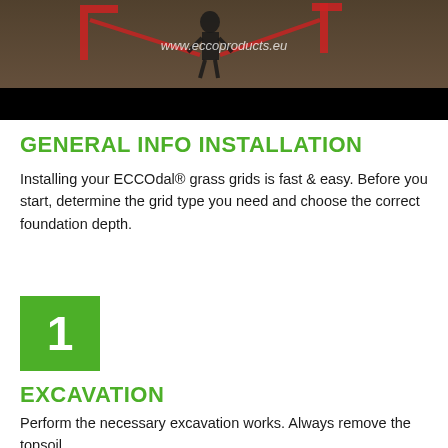[Figure (screenshot): Video screenshot showing a person operating red machinery in a field/soil, with watermark text 'www.eccoproducts.eu' visible in the center. Lower portion of the image is black (video player UI).]
GENERAL INFO INSTALLATION
Installing your ECCOdal® grass grids is fast & easy. Before you start, determine the grid type you need and choose the correct foundation depth.
[Figure (infographic): Green square box with white number '1' indicating step 1]
EXCAVATION
Perform the necessary excavation works. Always remove the topsoil.